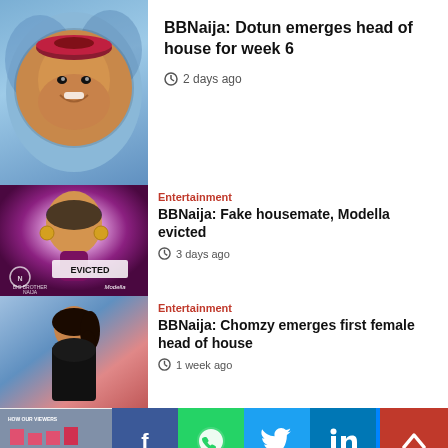[Figure (photo): Circular portrait photo of Dotun with blue patterned background]
BBNaija: Dotun emerges head of house for week 6
2 days ago
[Figure (photo): BBNaija Evicted promo image of Modella with purple glowing background and EVICTED text]
Entertainment
BBNaija: Fake housemate, Modella evicted
3 days ago
[Figure (photo): Photo of Chomzy standing in front of blue and red background]
Entertainment
BBNaija: Chomzy emerges first female head of house
1 week ago
[Figure (infographic): Social media share buttons: Facebook, WhatsApp, Twitter, LinkedIn, Messenger, Digg, Email, Print]
[Figure (photo): Partial chart image with HOW OUR VIEWERS text and bar chart]
Entertainment
BBNaija: Kess, Pharmsavi and other housemates